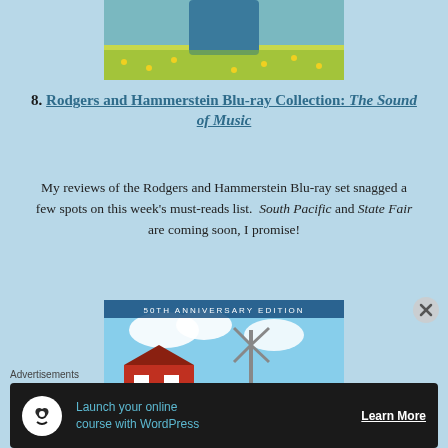[Figure (photo): Top portion of an outdoor scene with a person in blue jacket standing in a field of yellow flowers]
8. Rodgers and Hammerstein Blu-ray Collection: The Sound of Music
My reviews of the Rodgers and Hammerstein Blu-ray set snagged a few spots on this week's must-reads list. South Pacific and State Fair are coming soon, I promise!
[Figure (photo): 50th Anniversary Edition movie cover of Rodgers & Hammerstein's Oklahoma! showing a farmhouse, windmill, and a man in a cowboy hat]
Advertisements
Launch your online course with WordPress — Learn More